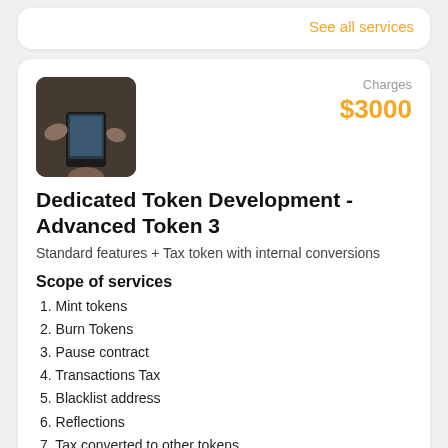See all services
[Figure (photo): Hands holding a smartphone, dark background]
Charges $3000
Dedicated Token Development - Advanced Token 3
Standard features + Tax token with internal conversions
Scope of services
1. Mint tokens
2. Burn Tokens
3. Pause contract
4. Transactions Tax
5. Blacklist address
6. Reflections
7. Tax converted to other tokens
Filter